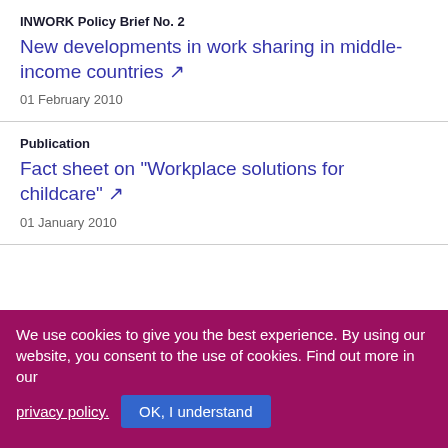INWORK Policy Brief No. 2
New developments in work sharing in middle-income countries ↗
01 February 2010
Publication
Fact sheet on "Workplace solutions for childcare" ↗
01 January 2010
We use cookies to give you the best experience. By using our website, you consent to the use of cookies. Find out more in our privacy policy.  OK, I understand